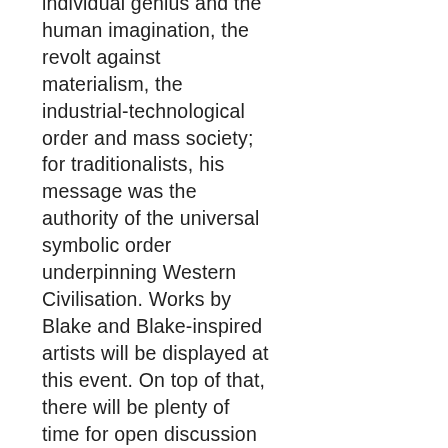individual genius and the human imagination, the revolt against materialism, the industrial-technological order and mass society; for traditionalists, his message was the authority of the universal symbolic order underpinning Western Civilisation. Works by Blake and Blake-inspired artists will be displayed at this event. On top of that, there will be plenty of time for open discussion in which we can review how Blake has become a major force in modern and contemporary cultural life through exhibitions, films, multi-media events and